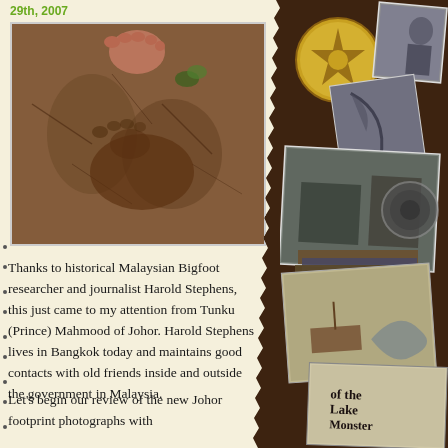29th, 2007
[Figure (photo): Close-up photograph of a large footprint impression in muddy soil, with a person's bare foot visible at the top for scale comparison]
Thanks to historical Malaysian Bigfoot researcher and journalist Harold Stephens, this just came to my attention from Tunku (Prince) Mahmood of Johor. Harold Stephens lives in Bangkok today and maintains good contacts with old friends inside and outside the government in Malaysia.
Let's begin our review of the new Johor footprint photographs with
[Figure (photo): Right-side collage of various photographs and objects including a gold compass/medallion coin, black and white photographs, book covers including one titled 'of the Lake Monster', and other cryptozoology-related items arranged on a dark brown background]